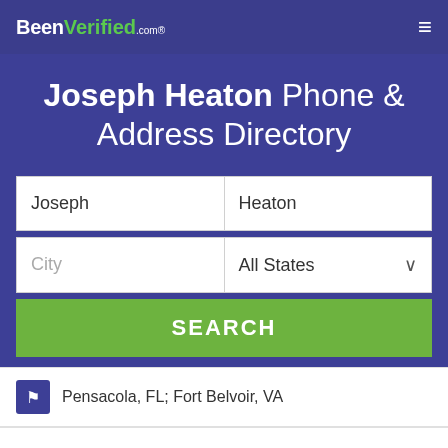BeenVerified.com
Joseph Heaton Phone & Address Directory
Joseph | Heaton
City | All States
SEARCH
Pensacola, FL; Fort Belvoir, VA